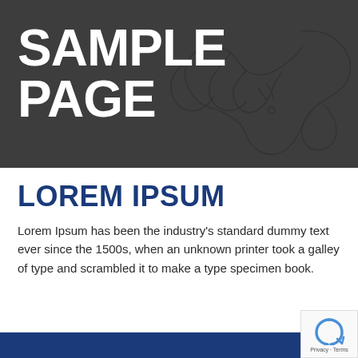SAMPLE PAGE
[Figure (illustration): One-line art drawing of two hands shaking, rendered as a continuous line illustration on a dark gray background]
LOREM IPSUM
Lorem Ipsum has been the industry's standard dummy text ever since the 1500s, when an unknown printer took a galley of type and scrambled it to make a type specimen book.